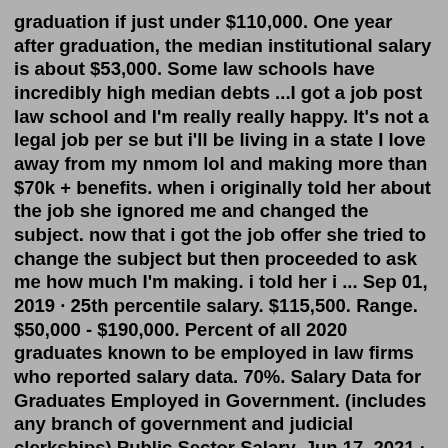graduation if just under $110,000. One year after graduation, the median institutional salary is about $53,000. Some law schools have incredibly high median debts ...I got a job post law school and I'm really really happy. It's not a legal job per se but i'll be living in a state I love away from my nmom lol and making more than $70k + benefits. when i originally told her about the job she ignored me and changed the subject. now that i got the job offer she tried to change the subject but then proceeded to ask me how much I'm making. i told her i ... Sep 01, 2019 · 25th percentile salary. $115,500. Range. $50,000 - $190,000. Percent of all 2020 graduates known to be employed in law firms who reported salary data. 70%. Salary Data for Graduates Employed in Government. (includes any branch of government and judicial clerkships) Public Sector Salary. Jun 17, 2021 · These would be Bryan Cave, Thompson Coburn, Polsinelli, Husch Blackwell, Armstrong Teasdale, Lewis Rice and Greensfelder. (You can find threads on this site